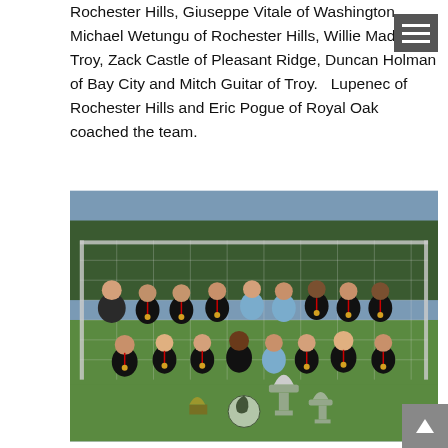Rochester Hills, Giuseppe Vitale of Washington, Michael Wetungu of Rochester Hills, Willie Maddox of Troy, Zack Castle of Pleasant Ridge, Duncan Holman of Bay City and Mitch Guitar of Troy.   Lupenec of Rochester Hills and Eric Pogue of Royal Oak coached the team.
[Figure (photo): Group photo of a youth soccer team in black uniforms with medals, standing in front of a soccer goal on a grass field. Trophies and awards are displayed in front of the team.]